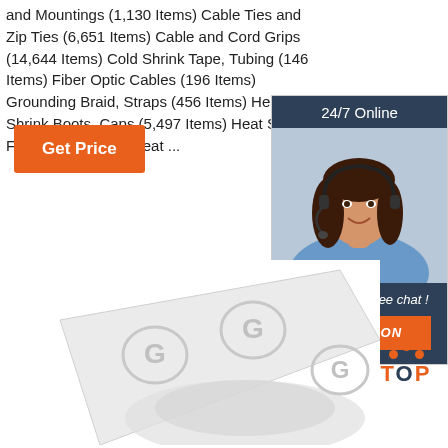and Mountings (1,130 Items) Cable Ties and Zip Ties (6,651 Items) Cable and Cord Grips (14,644 Items) Cold Shrink Tape, Tubing (146 Items) Fiber Optic Cables (196 Items) Grounding Braid, Straps (456 Items) Heat Shrink Boots, Caps (5,497 Items) Heat Shrink Fabric (102 Items) Heat ...
[Figure (other): Orange 'Get Price' button]
[Figure (other): 24/7 Online chat widget with photo of woman wearing headset, 'Click here for free chat!' text, and orange QUOTATION button]
[Figure (photo): Roll of white tape/label material with circular logo impressions, on white background]
[Figure (other): Orange and dark blue 'TOP' back-to-top button with orange dots forming an upward arrow]